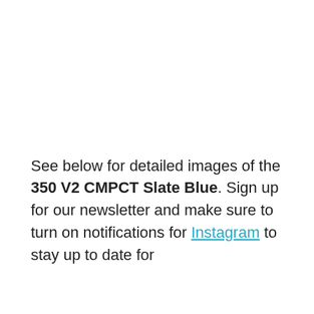See below for detailed images of the 350 V2 CMPCT Slate Blue. Sign up for our newsletter and make sure to turn on notifications for Instagram to stay up to date for